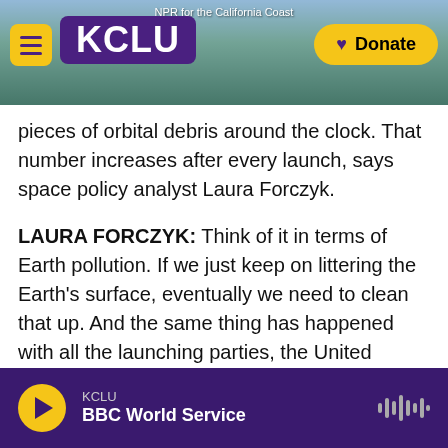KCLU — NPR for the California Coast
pieces of orbital debris around the clock. That number increases after every launch, says space policy analyst Laura Forczyk.
LAURA FORCZYK: Think of it in terms of Earth pollution. If we just keep on littering the Earth's surface, eventually we need to clean that up. And the same thing has happened with all the launching parties, the United States included.
BYRNE: Another Chinese rocket fell uncontrolled back to Earth last year, when it landed off West Africa. The White House says the U.S. is
KCLU — BBC World Service